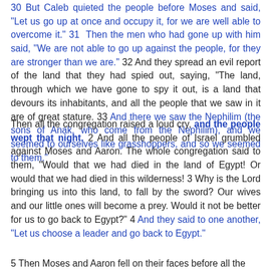30 But Caleb quieted the people before Moses and said, "Let us go up at once and occupy it, for we are well able to overcome it." 31 Then the men who had gone up with him said, "We are not able to go up against the people, for they are stronger than we are." 32 And they spread an evil report of the land that they had spied out, saying, "The land, through which we have gone to spy it out, is a land that devours its inhabitants, and all the people that we saw in it are of great stature. 33 And there we saw the Nephilim (the sons of Anak, who come from the Nephilim), and we seemed to ourselves like grasshoppers, and so we seemed to them."
Then all the congregation raised a loud cry, and the people wept that night. 2 And all the people of Israel grumbled against Moses and Aaron. The whole congregation said to them, "Would that we had died in the land of Egypt! Or would that we had died in this wilderness! 3 Why is the Lord bringing us into this land, to fall by the sword? Our wives and our little ones will become a prey. Would it not be better for us to go back to Egypt?" 4 And they said to one another, "Let us choose a leader and go back to Egypt."
5 Then Moses and Aaron fell on their faces before all the...